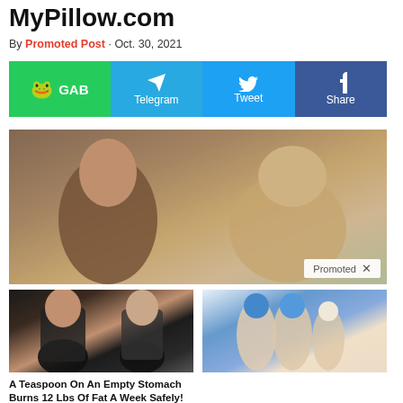MyPillow.com
By Promoted Post · Oct. 30, 2021
[Figure (screenshot): Social share bar with GAB (green), Telegram (light blue), Tweet (blue), Share/Facebook (dark blue) buttons]
[Figure (photo): Photo of two men in conversation at an event, with a 'Promoted X' badge overlay]
[Figure (photo): Thumbnail showing before/after back view of a woman in black top]
A Teaspoon On An Empty Stomach Burns 12 Lbs Of Fat A Week Safely!
7,183
[Figure (photo): Thumbnail showing toes with blue bandaging]
Toenail Fungus Discovery Is Leaving Doctors Speechless (Try This Tonight)
3,146